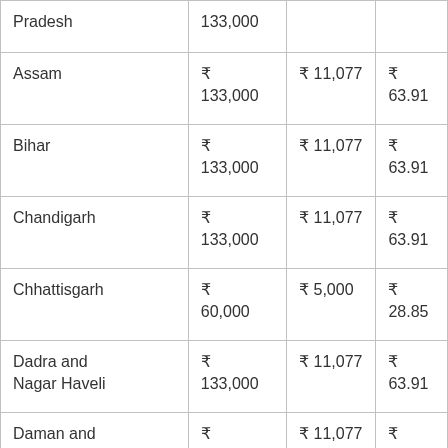| Pradesh | 133,000 |  |  |
| Assam | ₹ 133,000 | ₹ 11,077 | ₹ 63.91 |
| Bihar | ₹ 133,000 | ₹ 11,077 | ₹ 63.91 |
| Chandigarh | ₹ 133,000 | ₹ 11,077 | ₹ 63.91 |
| Chhattisgarh | ₹ 60,000 | ₹ 5,000 | ₹ 28.85 |
| Dadra and Nagar Haveli | ₹ 133,000 | ₹ 11,077 | ₹ 63.91 |
| Daman and ... | ₹ ... | ₹ 11,077 | ₹ 63.91 |